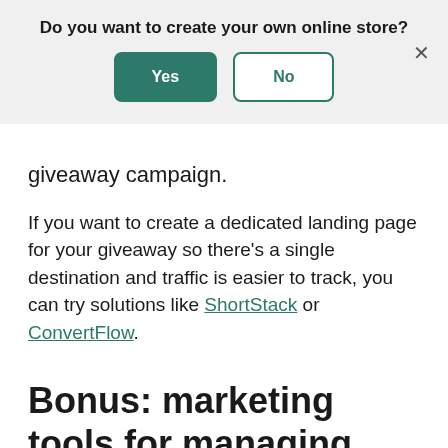Do you want to create your own online store?
Yes | No
giveaway campaign.
If you want to create a dedicated landing page for your giveaway so there's a single destination and traffic is easier to track, you can try solutions like ShortStack or ConvertFlow.
Bonus: marketing tools for managing your email list
A…